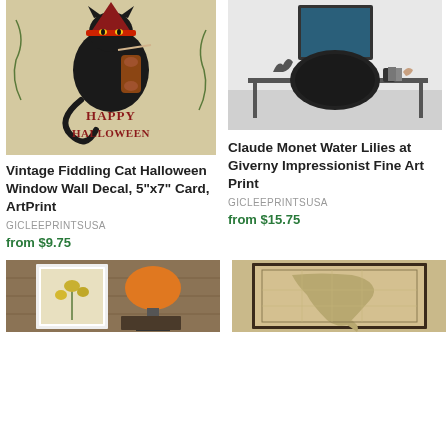[Figure (photo): Vintage Halloween card with a fiddling black cat wearing a witch hat and 'Happy Halloween' text in red]
Vintage Fiddling Cat Halloween Window Wall Decal, 5"x7" Card, ArtPrint
GICLEEPRINTSUSA
from $9.75
[Figure (photo): Modern desk/office setup with a framed art print on the wall and a black chair]
Claude Monet Water Lilies at Giverny Impressionist Fine Art Print
GICLEEPRINTSUSA
from $15.75
[Figure (photo): Botanical art print with yellow flowers in a white frame, shown against wood panel wall with orange lamp]
[Figure (photo): Antique map of Italy in a dark frame against a golden-beige background]